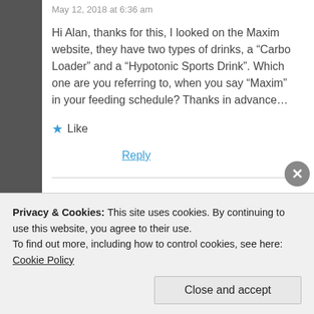May 12, 2018 at 6:36 am
Hi Alan, thanks for this, I looked on the Maxim website, they have two types of drinks, a “Carbo Loader” and a “Hypotonic Sports Drink”. Which one are you referring to, when you say “Maxim” in your feeding schedule? Thanks in advance…
★ Like
Reply
LoneSwimmer
Privacy & Cookies: This site uses cookies. By continuing to use this website, you agree to their use.
To find out more, including how to control cookies, see here: Cookie Policy
Close and accept